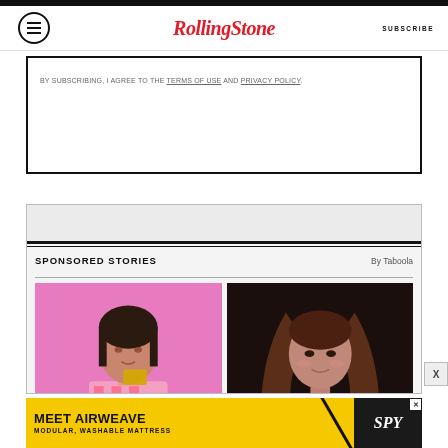Rolling Stone — SUBSCRIBE
BY SUBSCRIBING, I AGREE TO THE TERMS OF USE AND PRIVACY POLICY.
SPONSORED STORIES
By Taboola
[Figure (photo): Woman with dark hair against pink background, holding a gold card]
[Figure (photo): Woman with long brown hair against dark background]
[Figure (advertisement): MEET AIRWEAVE MODULAR, WASHABLE MATTRESS ad banner with SPY logo on yellow background]